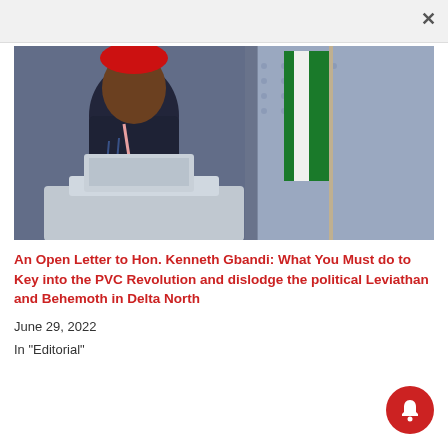[Figure (photo): A man in a red cap and dark navy traditional attire stands at a podium/lectern with a Nigerian flag visible in the background]
An Open Letter to Hon. Kenneth Gbandi: What You Must do to Key into the PVC Revolution and dislodge the political Leviathan and Behemoth in Delta North
June 29, 2022
In "Editorial"